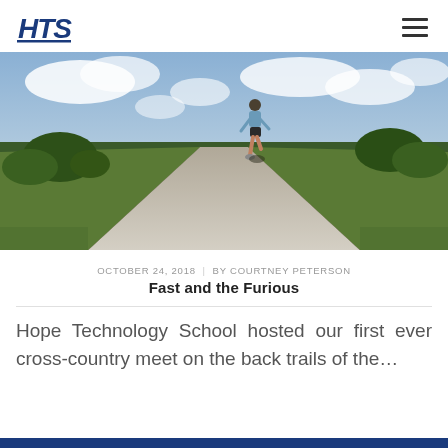HTS
[Figure (photo): Person running away from camera along a straight rural road with green grass and trees on the sides, under a cloudy sky]
OCTOBER 24, 2018  |  BY COURTNEY PETERSON
Fast and the Furious
Hope Technology School hosted our first ever cross-country meet on the back trails of the...